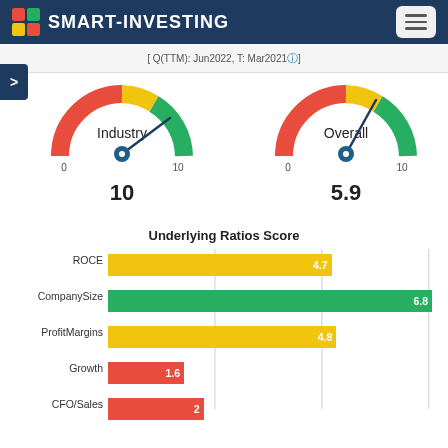SMART-INVESTING
[ Q(TTM): Jun2022, T: Mar2021 ]
[Figure (other): Gauge chart labeled 'Industry' showing value 10 on scale 0-10, needle pointing far right in teal zone]
[Figure (other): Gauge chart labeled 'Overall' showing value 5.9 on scale 0-10, needle pointing upper right in teal zone]
[Figure (bar-chart): Underlying Ratios Score]